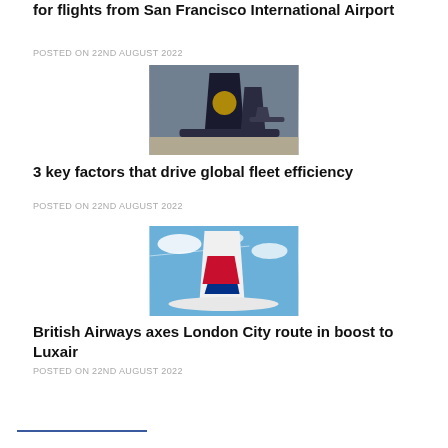for flights from San Francisco International Airport
POSTED ON 22ND AUGUST 2022
[Figure (photo): Lufthansa aircraft tails on airport tarmac]
3 key factors that drive global fleet efficiency
POSTED ON 22ND AUGUST 2022
[Figure (photo): British Airways aircraft tail against blue sky with clouds]
British Airways axes London City route in boost to Luxair
POSTED ON 22ND AUGUST 2022